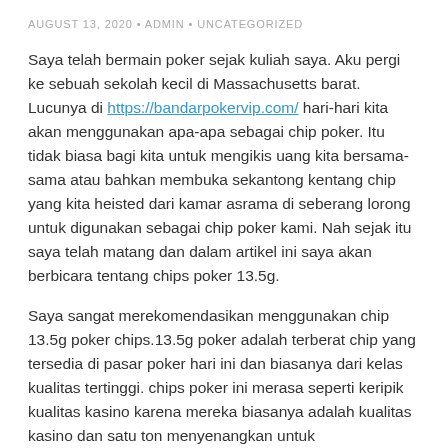AUGUST 13, 2020 • ADMIN • UNCATEGORIZED
Saya telah bermain poker sejak kuliah saya. Aku pergi ke sebuah sekolah kecil di Massachusetts barat. Lucunya di https://bandarpokervip.com/ hari-hari kita akan menggunakan apa-apa sebagai chip poker. Itu tidak biasa bagi kita untuk mengikis uang kita bersama-sama atau bahkan membuka sekantong kentang chip yang kita heisted dari kamar asrama di seberang lorong untuk digunakan sebagai chip poker kami. Nah sejak itu saya telah matang dan dalam artikel ini saya akan berbicara tentang chips poker 13.5g.
Saya sangat merekomendasikan menggunakan chip 13.5g poker chips.13.5g poker adalah terberat chip yang tersedia di pasar poker hari ini dan biasanya dari kelas kualitas tertinggi. chips poker ini merasa seperti keripik kualitas kasino karena mereka biasanya adalah kualitas kasino dan satu ton menyenangkan untuk